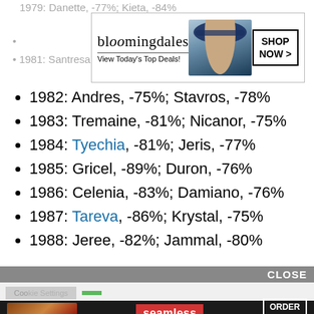[Figure (screenshot): Bloomingdale's advertisement banner: logo, 'View Today's Top Deals!', model with hat, 'SHOP NOW >' button]
1979: Danette, -77%; Kieta, -84% (faded, partially visible)
(faded bullet, partially visible)
1981: Santresa, -80%; Jerritt, -74% (faded, partially visible)
1982: Andres, -75%; Stavros, -78%
1983: Tremaine, -81%; Nicanor, -75%
1984: Tyechia, -81%; Jeris, -77%
1985: Gricel, -89%; Duron, -76%
1986: Celenia, -83%; Damiano, -76%
1987: Tareva, -86%; Krystal, -75%
1988: Jeree, -82%; Jammal, -80%
We use cookies on our website to give you the most relevant experience by remembering your preferences and repeat visits. By clicking “Accept”, you consent to the use of ALL the cookies.
Do not sell my personal information.
[Figure (screenshot): Cookie consent bar with 'CLOSE' button, Cookie Settings and Accept buttons, and Seamless food delivery advertisement at bottom with 'ORDER NOW' button]